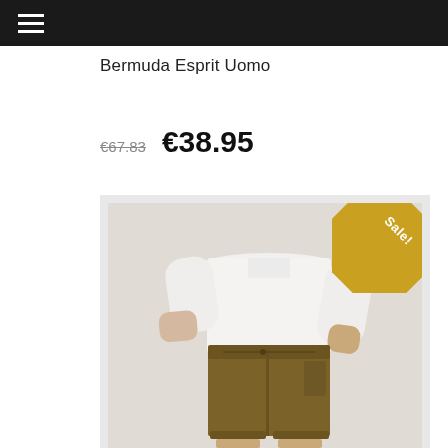Bermuda Esprit Uomo
€67.83   €38.95
[Figure (photo): Product photo of olive/khaki Bermuda shorts (Esprit Uomo) worn by a person in a white shirt. A gold 'Sale!' badge triangle is visible in the top-right corner of the image.]